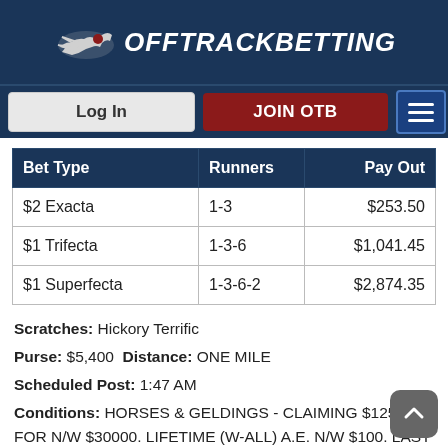OffTrackBetting
| Bet Type | Runners | Pay Out |
| --- | --- | --- |
| $2 Exacta | 1-3 | $253.50 |
| $1 Trifecta | 1-3-6 | $1,041.45 |
| $1 Superfecta | 1-3-6-2 | $2,874.35 |
Scratches: Hickory Terrific
Purse: $5,400 Distance: ONE MILE
Scheduled Post: 1:47 AM
Conditions: HORSES & GELDINGS - CLAIMING $12500. - FOR N/W $30000. LIFETIME (W-ALL) A.E. N/W $100. LAST 4 STARTS
Also Ran: Jetset Charmer, Jet Black Cadillac, Winning